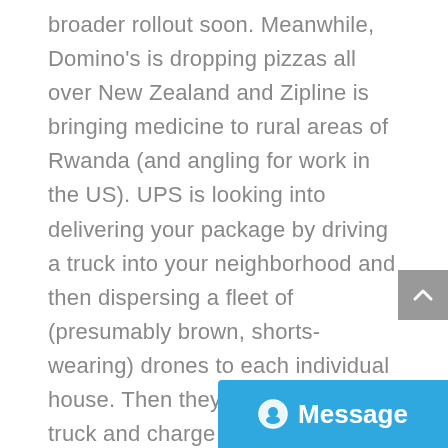broader rollout soon. Meanwhile, Domino's is dropping pizzas all over New Zealand and Zipline is bringing medicine to rural areas of Rwanda (and angling for work in the US). UPS is looking into delivering your package by driving a truck into your neighborhood and then dispersing a fleet of (presumably brown, shorts-wearing) drones to each individual house. Then they'd fly back to the truck and charge up on the way to the next neighborhood. Drones can go into unreachable or unsafe areas to assess the situation or drop off necessary supplies. They helped repair power lines in Puerto Rico after Hurricane Maria battered th... anywhere humans cannot or to go, a drone can zip over and look around
[Figure (other): Scroll-to-top button (grey square with upward chevron arrow)]
[Figure (other): Blue Message chat button with alien/chat icon and 'Message' label]